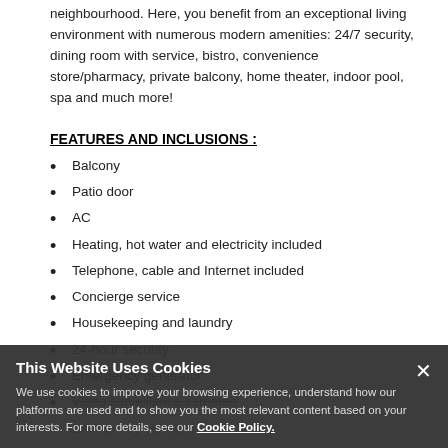neighbourhood. Here, you benefit from an exceptional living environment with numerous modern amenities: 24/7 security, dining room with service, bistro, convenience store/pharmacy, private balcony, home theater, indoor pool, spa and much more!
FEATURES AND INCLUSIONS :
Balcony
Patio door
AC
Heating, hot water and electricity included
Telephone, cable and Internet included
Concierge service
Housekeeping and laundry
24-hour security
Emergency generator
Video surveillance cameras
Emergency call card
Care staff on site at all times
This Website Uses Cookies
We use cookies to improve your browsing experience, understand how our platforms are used and to show you the most relevant content based on your interests. For more details, see our Cookie Policy.